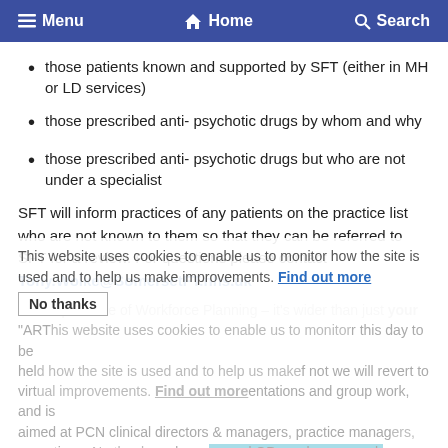Menu  Home  Search
those patients known and supported by SFT (either in MH or LD services)
those prescribed anti- psychotic drugs by whom and why
those prescribed anti- psychotic drugs but who are not under a specialist
SFT will inform practices of any patients on the practice list who are not known to them so that they can be referred to SFT for a review. For questions please contact Tony.Wolke@SomersetFT.nhs.uk
The Importance of Workforce Planning – it's wider than just your "ARRS" ... (faded background content with cookie overlay)
This website uses cookies to enable us to monitor how the site is used and to help us make improvements. Find out more
and finally..